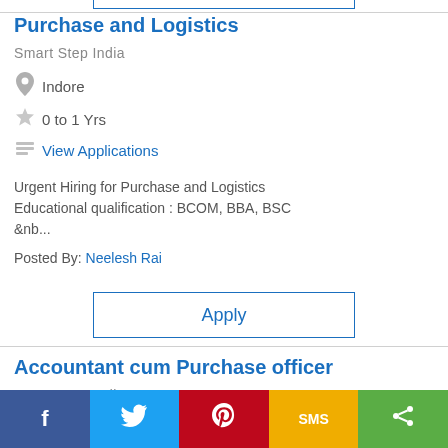Purchase and Logistics
Smart Step India
Indore
0 to 1 Yrs
View Applications
Urgent Hiring for Purchase and Logistics Educational qualification : BCOM, BBA, BSC &nb...
Posted By: Neelesh Rai
Apply
Accountant cum Purchase officer
Smart Step India
[Figure (other): Social sharing bar with Facebook, Twitter, Pinterest, SMS, and Share buttons]